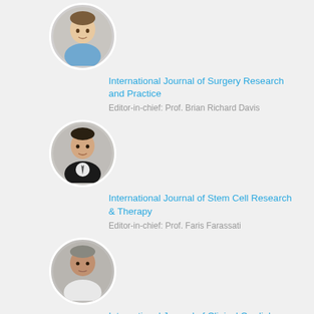[Figure (photo): Circular portrait photo of Prof. Brian Richard Davis, a man in a blue shirt]
International Journal of Surgery Research and Practice
Editor-in-chief: Prof. Brian Richard Davis
[Figure (photo): Circular portrait photo of Prof. Faris Farassati, a man in a suit and tie]
International Journal of Stem Cell Research & Therapy
Editor-in-chief: Prof. Faris Farassati
[Figure (photo): Circular portrait photo of Prof. Breijo-Marquez, an older man]
International Journal of Clinical Cardiology
Editor-in-chief: Prof. Breijo-Marquez
[Figure (photo): Circular portrait photo of a fourth editor, partially visible at bottom]